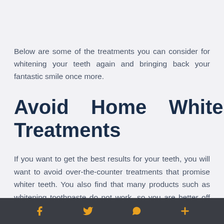Below are some of the treatments you can consider for whitening your teeth again and bringing back your fantastic smile once more.
Avoid Home Whitening Treatments
If you want to get the best results for your teeth, you will want to avoid over-the-counter treatments that promise whiter teeth. You also find that many products such as whitening toothpaste do not work, so you are better off saving your money and putting it towards professional teeth whitening treatment.
Social media icons: Facebook, Twitter, WhatsApp, Add